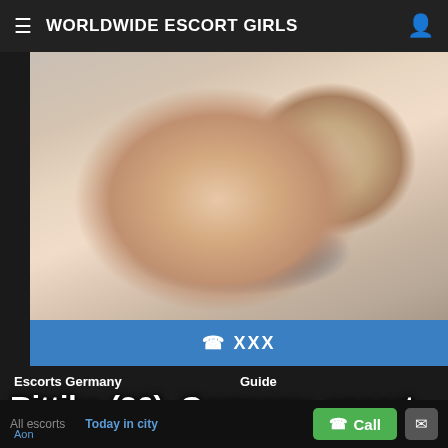WORLDWIDE ESCORT GIRLS
[Figure (photo): Close-up photo, partially cropped]
✆ XXX
Escorts Germany
Guide
Escort Malaysia
Escort Poland
Netherlands escorts
All escorts
Adult foot fetish
Chubby Stocking Sex
Fuck a mature bitch streaming
Today in city
Aon
Rittika (26), Germany, escort sexgirl